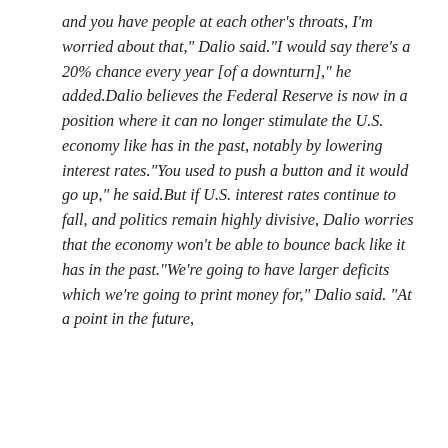and you have people at each other's throats, I'm worried about that," Dalio said.“I would say there's a 20% chance every year [of a downturn]," he added.Dalio believes the Federal Reserve is now in a position where it can no longer stimulate the U.S. economy like has in the past, notably by lowering interest rates.“You used to push a button and it would go up," he said.But if U.S. interest rates continue to fall, and politics remain highly divisive, Dalio worries that the economy won't be able to bounce back like it has in the past.“We're going to have larger deficits which we're going to print money for," Dalio said. “At a point in the future,